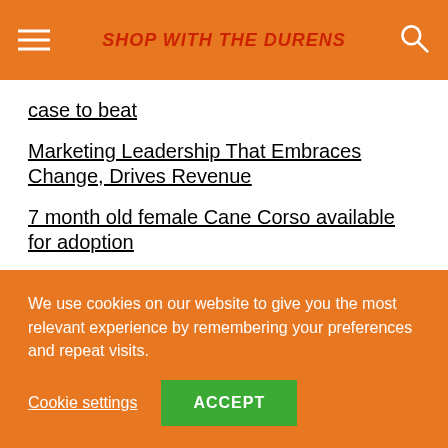SHOP WITH THE DURENS
case to beat
Marketing Leadership That Embraces Change, Drives Revenue
7 month old female Cane Corso available for adoption
Wayne W Dyer – Age, Net Worth and Social Media Influencer Profiles
These Cheap Beauty Products Work So Well, Amazon Can Barely Keep Them In Stock
We use cookies on our website to give you the most relevant experience by remembering your preferences and repeat visits.
Cookie settings  ACCEPT